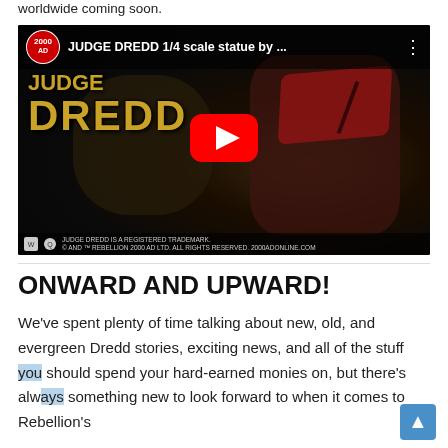worldwide coming soon.
[Figure (screenshot): YouTube video thumbnail for 'JUDGE DREDD 1/4 scale statue by ...' showing a close-up of a Judge Dredd statue with a red visor helmet and grim expression, with the 2000 AD logo in the top left, video title text, red YouTube play button in the center, and copyright text at the bottom.]
ONWARD AND UPWARD!
We've spent plenty of time talking about new, old, and evergreen Dredd stories, exciting news, and all of the stuff you should spend your hard-earned monies on, but there's always something new to look forward to when it comes to Rebellion's